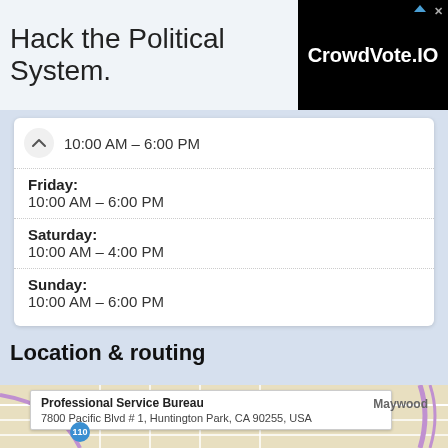[Figure (screenshot): Ad banner: 'Hack the Political System.' with CrowdVote.IO logo on black background]
| 10:00 AM – 6:00 PM |
| Friday: | 10:00 AM – 6:00 PM |
| Saturday: | 10:00 AM – 4:00 PM |
| Sunday: | 10:00 AM – 6:00 PM |
Location & routing
[Figure (map): Map showing Professional Service Bureau at 7800 Pacific Blvd # 1, Huntington Park, CA 90255, USA. Maywood visible. Highway 110 shown.]